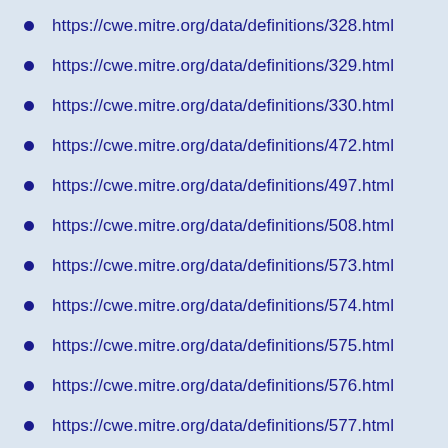https://cwe.mitre.org/data/definitions/328.html
https://cwe.mitre.org/data/definitions/329.html
https://cwe.mitre.org/data/definitions/330.html
https://cwe.mitre.org/data/definitions/472.html
https://cwe.mitre.org/data/definitions/497.html
https://cwe.mitre.org/data/definitions/508.html
https://cwe.mitre.org/data/definitions/573.html
https://cwe.mitre.org/data/definitions/574.html
https://cwe.mitre.org/data/definitions/575.html
https://cwe.mitre.org/data/definitions/576.html
https://cwe.mitre.org/data/definitions/577.html